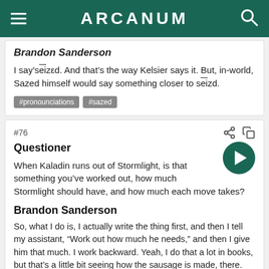ARCANUM
Brandon Sanderson
I say 'seized. And that's the way Kelsier says it. But, in-world, Sazed himself would say something closer to seizd.
#pronounciations
#sazed
#76
Questioner
When Kaladin runs out of Stormlight, is that something you've worked out, how much Stormlight should have, and how much each move takes?
Brandon Sanderson
So, what I do is, I actually write the thing first, and then I tell my assistant, "Work out how much he needs," and then I give him that much. I work backward. Yeah, I do that a lot in books, but that's a little bit seeing how the sausage is made, there.
#stormlight archive
#writing